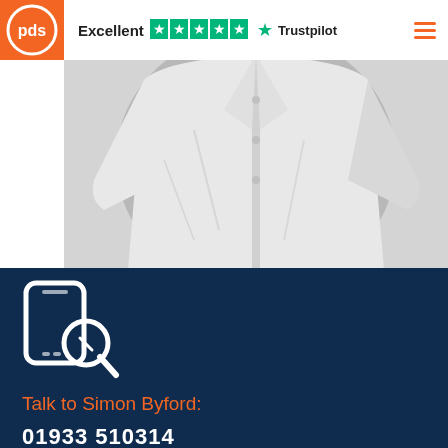[Figure (logo): PDS logo - orange square with white circular 'pds' text]
Excellent ★★★★★ Trustpilot
[Figure (photo): Black and white photo of a person wearing a white shirt, torso only]
[Figure (illustration): White icon of a smartphone with a magnifying glass/search symbol on dark navy background]
Talk to Simon Byford:
01933 510314